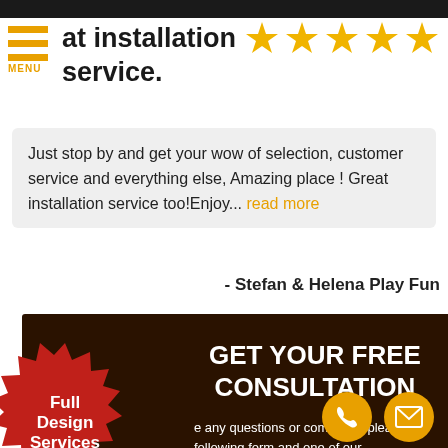[Figure (other): Top navigation bar with hamburger menu icon and MENU label in orange]
at installation service.
[Figure (other): Five gold/yellow star rating icons]
Just stop by and get your wow of selection, customer service and everything else, Amazing place ! Great installation service too!Enjoy... read more
- Stefan & Helena Play Fun
[Figure (other): Red starburst badge with text 'Full Design Services']
GET YOUR FREE CONSULTATION
e any questions or comments please fill following form and one of our tatives will contact you oor possible.
[Figure (other): Orange circular phone icon button]
[Figure (other): Orange circular mail/envelope icon button]